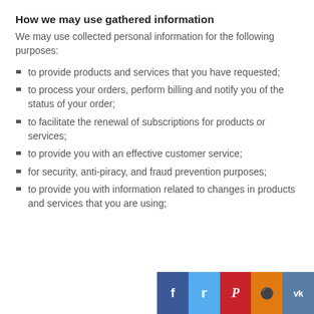How we may use gathered information
We may use collected personal information for the following purposes:
to provide products and services that you have requested;
to process your orders, perform billing and notify you of the status of your order;
to facilitate the renewal of subscriptions for products or services;
to provide you with an effective customer service;
for security, anti-piracy, and fraud prevention purposes;
to provide you with information related to changes in products and services that you are using;